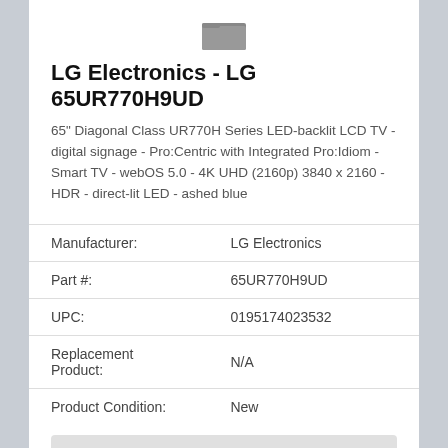[Figure (other): Folder icon graphic]
LG Electronics - LG 65UR770H9UD
65" Diagonal Class UR770H Series LED-backlit LCD TV - digital signage - Pro:Centric with Integrated Pro:Idiom - Smart TV - webOS 5.0 - 4K UHD (2160p) 3840 x 2160 - HDR - direct-lit LED - ashed blue
|  |  |
| --- | --- |
| Manufacturer: | LG Electronics |
| Part #: | 65UR770H9UD |
| UPC: | 0195174023532 |
| Replacement Product: | N/A |
| Product Condition: | New |
Price: CAD $1,352.00
Total Available: 0
Qty: 1